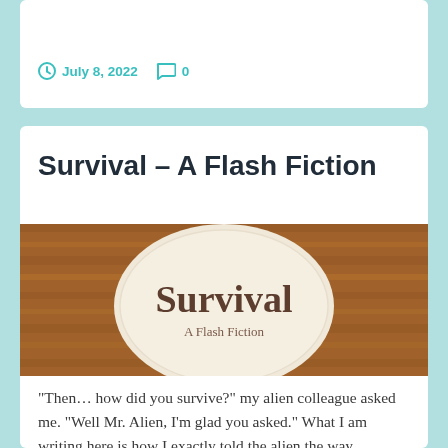July 8, 2022   0
Survival – A Flash Fiction
[Figure (illustration): A cream-colored dinner plate centered on a wooden table background with the word 'Survival' in large serif text and subtitle 'A Flash Fiction' below it.]
“Then…how did you survive?” my alien colleague asked me. “Well Mr. Alien, I’m glad you asked.” What I am writing here is how I exactly told the alien the way